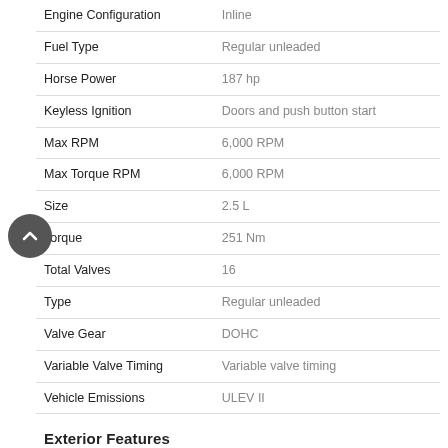| Feature | Value |
| --- | --- |
| Engine Configuration | Inline |
| Fuel Type | Regular unleaded |
| Horse Power | 187 hp |
| Keyless Ignition | Doors and push button start |
| Max RPM | 6,000 RPM |
| Max Torque RPM | 6,000 RPM |
| Size | 2.5 L |
| Torque | 251 Nm |
| Total Valves | 16 |
| Type | Regular unleaded |
| Valve Gear | DOHC |
| Variable Valve Timing | Variable valve timing |
| Vehicle Emissions | ULEV II |
Exterior Features
| Feature | Value |
| --- | --- |
| Grille | Black w/chrome accents |
| Rear spoiler | Lip |